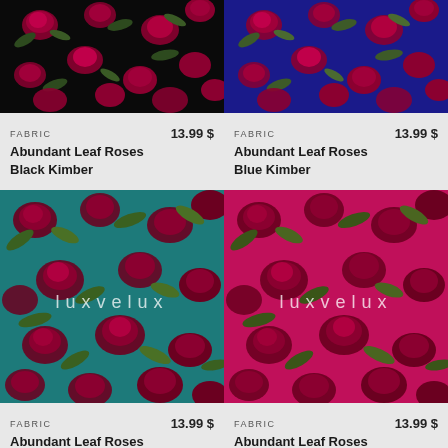[Figure (photo): Abundant Leaf Roses Black Kimber fabric swatch - dark background with red roses and green leaves pattern]
FABRIC  13.99 $
Abundant Leaf Roses Black Kimber
[Figure (photo): Abundant Leaf Roses Blue Kimber fabric swatch - blue background with red roses and green leaves pattern]
FABRIC  13.99 $
Abundant Leaf Roses Blue Kimber
[Figure (photo): Abundant Leaf Roses Mint Kimber fabric swatch - teal/mint background with dark red roses and green leaves, luxvelux watermark]
FABRIC  13.99 $
Abundant Leaf Roses Mint Kimber
[Figure (photo): Abundant Leaf Roses Red Kimber fabric swatch - hot pink/red background with dark roses and green leaves, luxvelux watermark]
FABRIC  13.99 $
Abundant Leaf Roses Red Kimber
[Figure (photo): Partial view of additional fabric swatches at bottom of page]